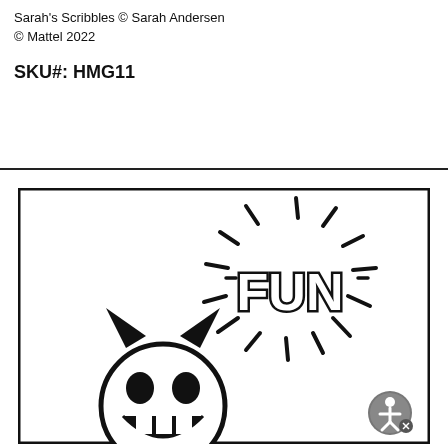Sarah's Scribbles © Sarah Andersen
© Mattel 2022
SKU#: HMG11
[Figure (illustration): Comic-style illustration showing the word 'FUN' in bold lettering with radiating lines burst effect, and below it a cartoon character (cat or animal face) with triangular ears and wide open mouth showing teeth, drawn in thick black lines on white background, enclosed in a thick black border rectangle.]